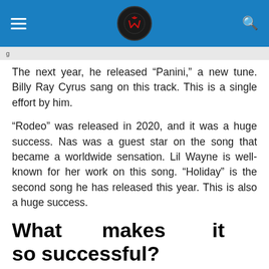[Navigation bar with hamburger menu, logo, and search icon]
The next year, he released “Panini,” a new tune. Billy Ray Cyrus sang on this track. This is a single effort by him.
“Rodeo” was released in 2020, and it was a huge success. Nas was a guest star on the song that became a worldwide sensation. Lil Wayne is well-known for her work on this song. “Holiday” is the second song he has released this year. This is also a huge success.
What makes it so successful?